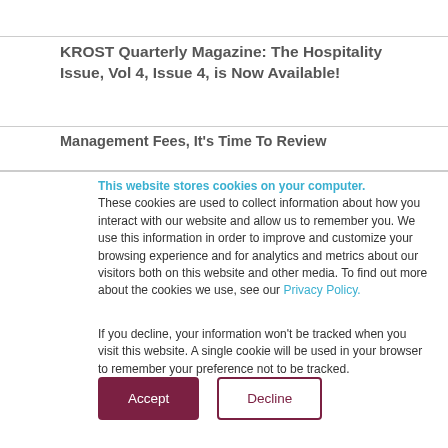KROST Quarterly Magazine: The Hospitality Issue, Vol 4, Issue 4, is Now Available!
Management Fees, It's Time To Review
This website stores cookies on your computer. These cookies are used to collect information about how you interact with our website and allow us to remember you. We use this information in order to improve and customize your browsing experience and for analytics and metrics about our visitors both on this website and other media. To find out more about the cookies we use, see our Privacy Policy.
If you decline, your information won't be tracked when you visit this website. A single cookie will be used in your browser to remember your preference not to be tracked.
Accept   Decline